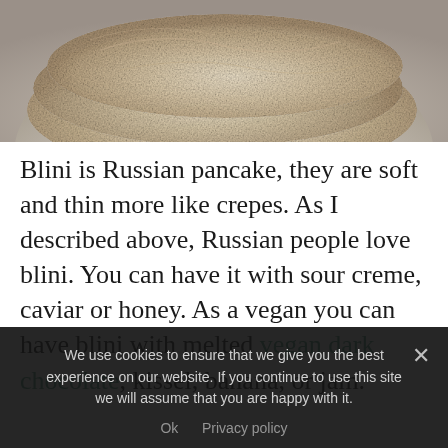[Figure (photo): Close-up photo of stacked Russian blini (thin pancakes) on a white plate, viewed from above. The pancakes are pale golden-beige in color with a slightly textured surface.]
Blini is Russian pancake, they are soft and thin more like crepes. As I described above, Russian people love blini. You can have it with sour creme, caviar or honey. As a vegan you can have blini with melted vegan dark chocolate, kissel, banana, or jam.
We use cookies to ensure that we give you the best experience on our website. If you continue to use this site we will assume that you are happy with it.
Ok   Privacy policy